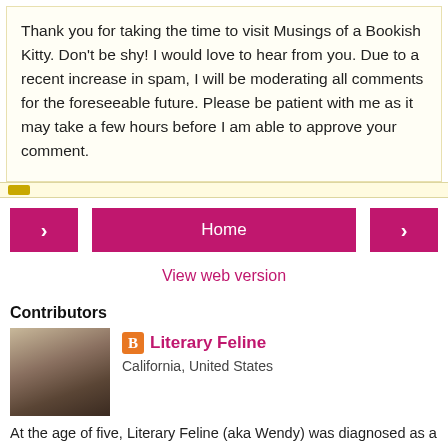Thank you for taking the time to visit Musings of a Bookish Kitty. Don't be shy! I would love to hear from you. Due to a recent increase in spam, I will be moderating all comments for the foreseeable future. Please be patient with me as it may take a few hours before I am able to approve your comment.
[Figure (screenshot): Navigation bar with left arrow button, Home button, and right arrow button, all in dark pink/magenta color]
View web version
Contributors
[Figure (photo): Photo of a cat sitting on top of a person's head]
Literary Feline
California, United States
At the age of five, Literary Feline (aka Wendy) was diagnosed as a fabulavore. Due to the low story content of movies and television, she has required a steady supply of books to provide her sustenance. She currently resides in California with her loving husband, adorable daughter, and two affectionate and sassy cats.